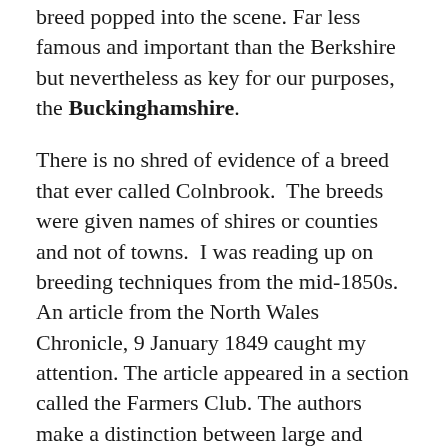breed popped into the scene. Far less famous and important than the Berkshire but nevertheless as key for our purposes, the Buckinghamshire.
There is no shred of evidence of a breed that ever called Colnbrook. The breeds were given names of shires or counties and not of towns. I was reading up on breeding techniques from the mid-1850s. An article from the North Wales Chronicle, 9 January 1849 caught my attention. The article appeared in a section called the Farmers Club. The authors make a distinction between large and small breeds. Large breeds are Berkshire, the Herefordshire, etc. The author says that “these are a description of pigs that grow to a large size, and great weight and